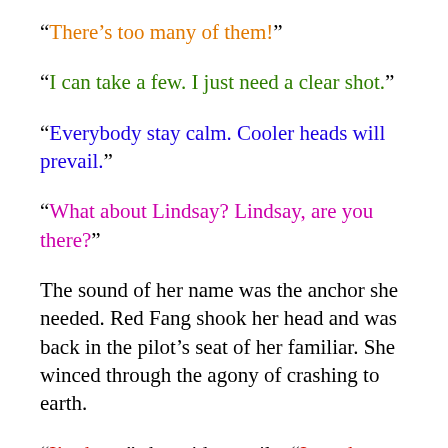“There’s too many of them!”
“I can take a few. I just need a clear shot.”
“Everybody stay calm. Cooler heads will prevail.”
“What about Lindsay? Lindsay, are you there?”
The sound of her name was the anchor she needed. Red Fang shook her head and was back in the pilot’s seat of her familiar. She winced through the agony of crashing to earth.
“I’m here,” she said, wearily. “I… what